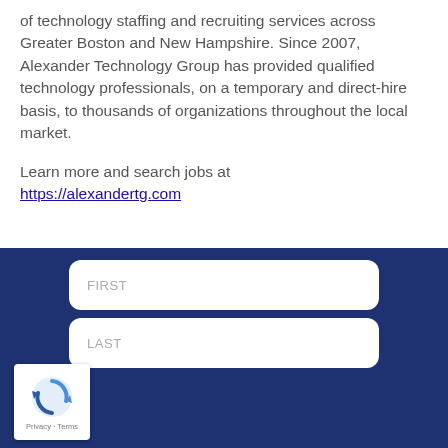of technology staffing and recruiting services across Greater Boston and New Hampshire. Since 2007, Alexander Technology Group has provided qualified technology professionals, on a temporary and direct-hire basis, to thousands of organizations throughout the local market.
Learn more and search jobs at https://alexandertg.com
[Figure (screenshot): Dark navy blue form section with two white rounded input fields labeled FIRST and LAST, and a reCAPTCHA widget in the bottom-left corner showing the reCAPTCHA logo with Privacy and Terms links.]